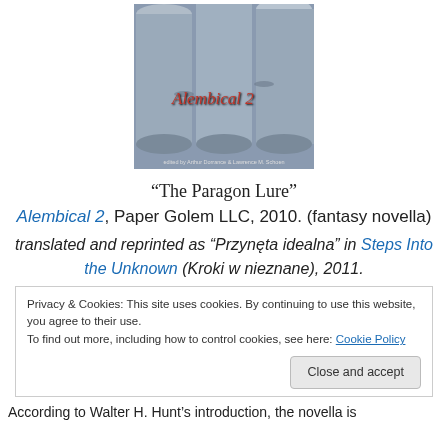[Figure (illustration): Book cover of Alembical 2 showing metallic cylindrical pipes/tubes in gray-blue tones with the title 'Alembical 2' in red italic text and editor credits at bottom]
“The Paragon Lure”
Alembical 2, Paper Golem LLC, 2010. (fantasy novella)
translated and reprinted as “Przynęta idealna” in Steps Into the Unknown (Kroki w nieznane), 2011.
Privacy & Cookies: This site uses cookies. By continuing to use this website, you agree to their use.
To find out more, including how to control cookies, see here: Cookie Policy
Close and accept
According to Walter H. Hunt’s introduction, the novella is